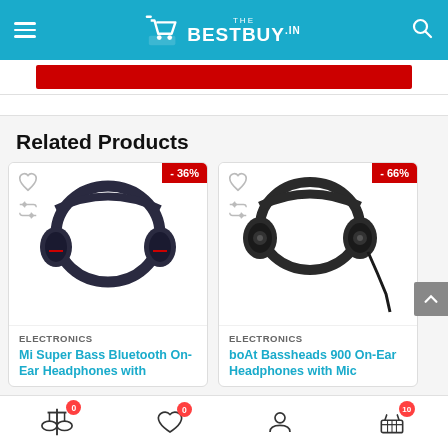TheBestBuy.in
[Figure (screenshot): Red promotional banner strip]
Related Products
[Figure (photo): Mi Super Bass Bluetooth On-Ear Headphones with -36% discount badge, dark blue headphones]
ELECTRONICS
Mi Super Bass Bluetooth On-Ear Headphones with
[Figure (photo): boAt Bassheads 900 On-Ear Headphones with Mic with -66% discount badge, black headphones]
ELECTRONICS
boAt Bassheads 900 On-Ear Headphones with Mic
Compare 0 | Wishlist 0 | Account | Cart 10